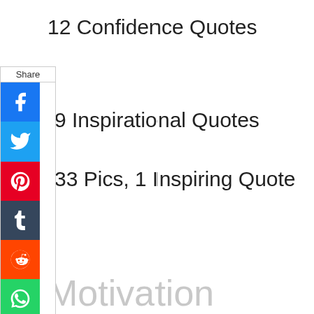12 Confidence Quotes
9 Inspirational Quotes
33 Pics, 1 Inspiring Quote
[Figure (screenshot): Social media share sidebar with Facebook, Twitter, Pinterest, Tumblr, Reddit, and WhatsApp buttons]
Motivation
◄48 Motivating Quotes
31 Encouragement Quotes
Famous Motivational Quotes
25 Quotes on Motivation